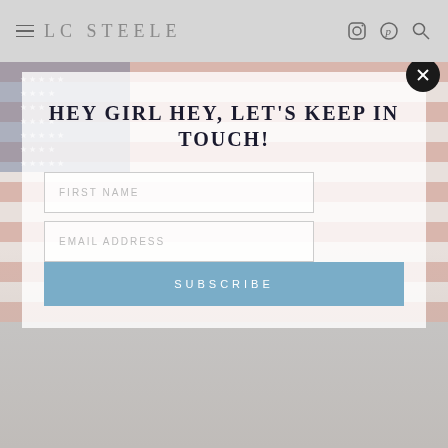LC STEELE
[Figure (screenshot): Website screenshot showing LC Steele blog header with hamburger menu, site title 'LC STEELE', and social icons (Instagram, Pinterest, Search) on the right. Below is a modal popup over a photo of a person holding a baby in front of an American flag.]
HEY GIRL HEY, LET'S KEEP IN TOUCH!
FIRST NAME
EMAIL ADDRESS
SUBSCRIBE